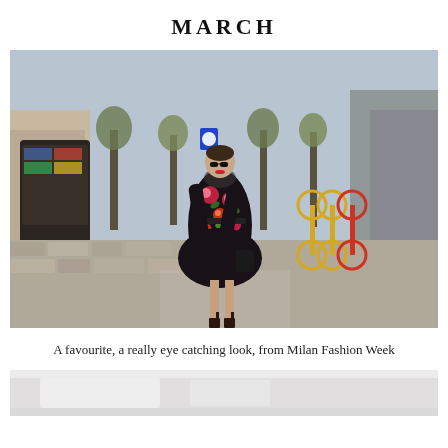MARCH
[Figure (photo): A woman wearing a black floral dress with long sleeves, standing on a cobblestone street during Milan Fashion Week. She wears sunglasses, lace-up heels, and carries a small black bag. Yellow rental bicycles are visible in the background along with trees and urban buildings.]
A favourite, a really eye catching look, from Milan Fashion Week
[Figure (photo): Bottom portion of a second photo, showing a light interior scene with white/grey tones.]